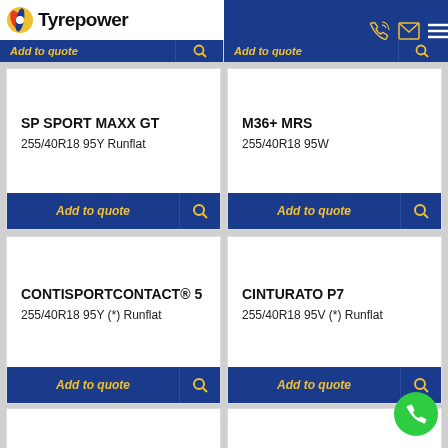Tyrepower
Add to quote
Add to quote
SP SPORT MAXX GT
255/40R18 95Y Runflat
Add to quote
M36+ MRS
255/40R18 95W
Add to quote
CONTISPORTCONTACT® 5
255/40R18 95Y (*) Runflat
Add to quote
CINTURATO P7
255/40R18 95V (*) Runflat
Add to quote